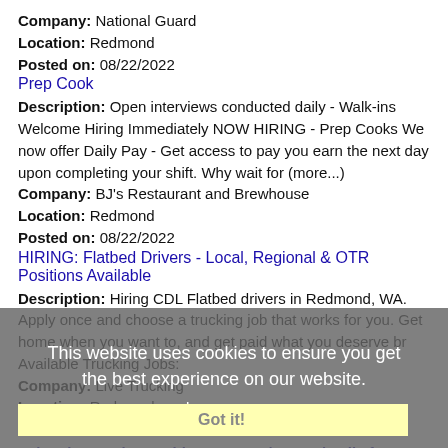Company: National Guard
Location: Redmond
Posted on: 08/22/2022
Prep Cook
Description: Open interviews conducted daily - Walk-ins Welcome Hiring Immediately NOW HIRING - Prep Cooks We now offer Daily Pay - Get access to pay you earn the next day upon completing your shift. Why wait for (more...)
Company: BJ's Restaurant and Brewhouse
Location: Redmond
Posted on: 08/22/2022
HIRING: Flatbed Drivers - Local, Regional & OTR Positions Available
Description: Hiring CDL Flatbed drivers in Redmond, WA. Apply once and choose a trucking job that works for you. Get home when you want to, and get paid what you deserve br Available Trucking Jobs:
Company: Live Trucking
Location: Redmond
Posted on: 08/22/2022
Salary in Seattle, Washington Area | More details for